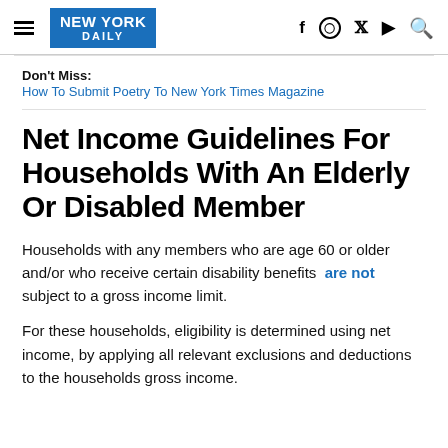NEW YORK DAILY
Don't Miss: How To Submit Poetry To New York Times Magazine
Net Income Guidelines For Households With An Elderly Or Disabled Member
Households with any members who are age 60 or older and/or who receive certain disability benefits are not subject to a gross income limit.
For these households, eligibility is determined using net income, by applying all relevant exclusions and deductions to the households gross income.